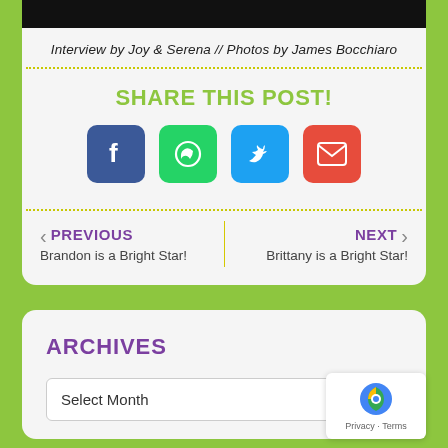[Figure (photo): Black bar at top (partial image cropped)]
Interview by Joy & Serena // Photos by James Bocchiaro
SHARE THIS POST!
[Figure (infographic): Social share icons: Facebook (blue), WhatsApp (green), Twitter (light blue), Email (red)]
PREVIOUS
Brandon is a Bright Star!
NEXT
Brittany is a Bright Star!
ARCHIVES
Select Month